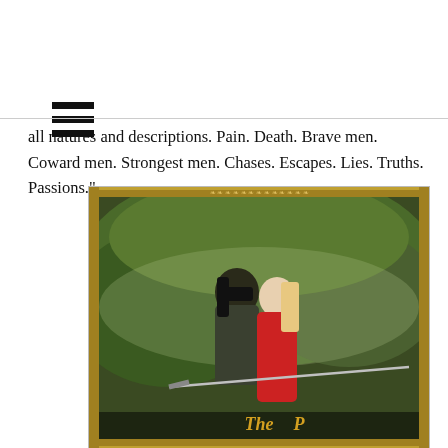[Figure (other): Hamburger menu icon (three horizontal bars)]
all natures and descriptions. Pain. Death. Brave men. Coward men. Strongest men. Chases. Escapes. Lies. Truths. Passions."
[Figure (photo): Book cover image of The Princess Bride, showing a masked man holding a woman in a red dress, with a sword visible, set against a green forest background, with decorative border and title text at bottom.]